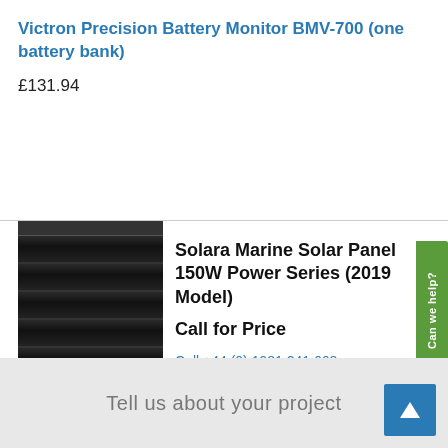Victron Precision Battery Monitor BMV-700 (one battery bank)
£131.94
[Figure (photo): Black Solara Marine Solar Panel 150W Power Series, tall narrow form factor with segmented surface]
Solara Marine Solar Panel 150W Power Series (2019 Model)
Call for Price
Call +44 (0) 1981 241 668
Tell us about your project